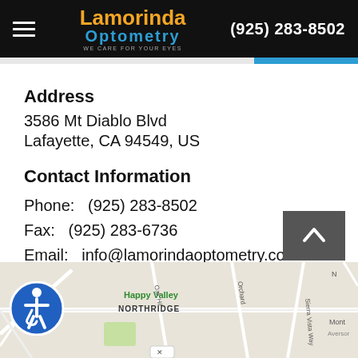Lamorinda Optometry | (925) 283-8502
Address
3586 Mt Diablo Blvd
Lafayette, CA 94549, US
Contact Information
Phone:   (925) 283-8502
Fax:   (925) 283-6736
Email:   info@lamorindaoptometry.com
[Figure (map): Google Maps view showing Happy Valley, Northridge area near Lafayette, CA with streets including Oak Hill, Orchard, Sierra Vista Way, and surroundings.]